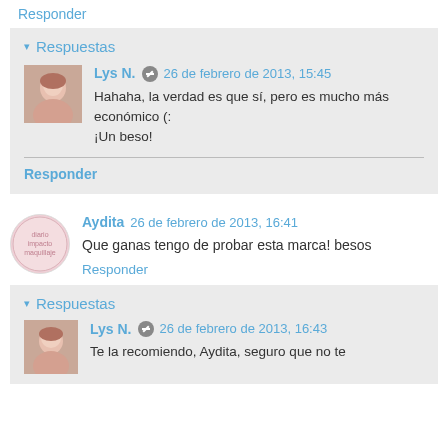Responder
Respuestas
Lys N. 26 de febrero de 2013, 15:45
Hahaha, la verdad es que sí, pero es mucho más económico (:
¡Un beso!
Responder
Aydita 26 de febrero de 2013, 16:41
Que ganas tengo de probar esta marca! besos
Responder
Respuestas
Lys N. 26 de febrero de 2013, 16:43
Te la recomiendo, Aydita, seguro que no te